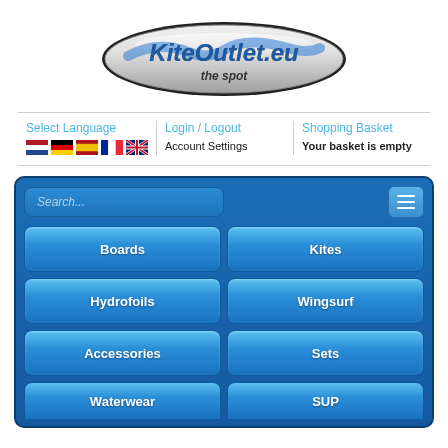[Figure (logo): KiteOutlet.eu logo — oval chrome pill with blue wave-styled text 'KiteOutlet.eu' and italic text 'the spot' underneath]
Select Language
Login / Logout
Shopping Basket
Account Settings
Your basket is empty
[Figure (screenshot): Blue mobile navigation panel with search box, hamburger menu icon, and grid of category buttons: Boards, Kites, Hydrofoils, Wingsurf, Accessories, Sets, Waterwear, SUP]